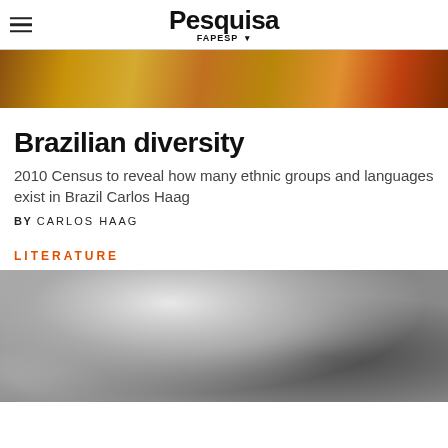Pesquisa FAPESP
[Figure (photo): Colorful photograph at top of page showing what appears to be Brazilian cultural items or costumes]
Brazilian diversity
2010 Census to reveal how many ethnic groups and languages exist in Brazil Carlos Haag
BY CARLOS HAAG
LITERATURE
[Figure (photo): Black and white photograph showing a person, partially cropped at bottom of page]